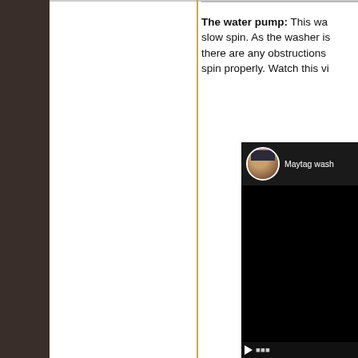The water pump: This was slow spin. As the washer is there are any obstructions spin properly. Watch this vi
[Figure (screenshot): A video thumbnail showing a YouTube-style video player with a circular avatar photo of a man wearing a cap and a partial title reading 'Maytag wash' on a dark background.]